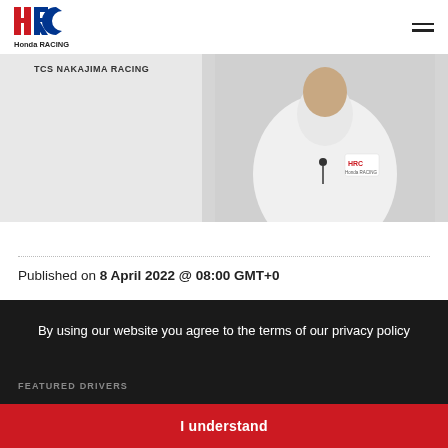[Figure (logo): HRC Honda Racing logo in red and blue]
[Figure (photo): TCS Nakajima Racing team photo – person in white jacket with HRC badge on right side]
Published on 8 April 2022 @ 08:00 GMT+0
By using our website you agree to the terms of our privacy policy
FEATURED  DRIVERS
I understand